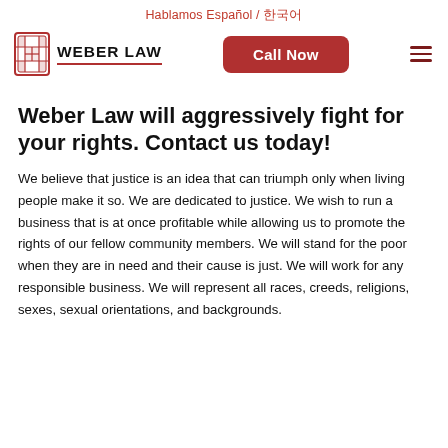Hablamos Español / 한국어
[Figure (logo): Weber Law logo with red Chinese-style seal icon and text WEBER LAW with red underline]
Weber Law will aggressively fight for your rights. Contact us today!
We believe that justice is an idea that can triumph only when living people make it so. We are dedicated to justice. We wish to run a business that is at once profitable while allowing us to promote the rights of our fellow community members. We will stand for the poor when they are in need and their cause is just. We will work for any responsible business. We will represent all races, creeds, religions, sexes, sexual orientations, and backgrounds.